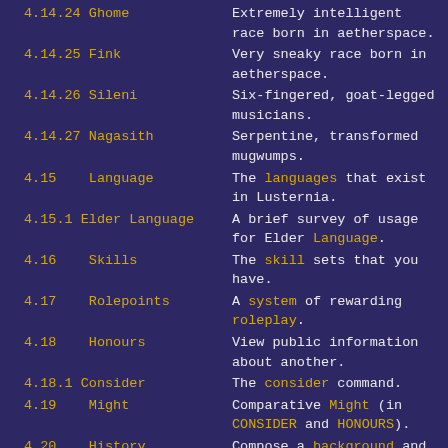4.14.24 Ghome — Extremely intelligent race born in aetherspace.
4.14.25 Fink — Very sneaky race born in aetherspace.
4.14.26 Sileni — Six-fingered, goat-legged musicians.
4.14.27 Nagasith — Serpentine, transformed mugwumps.
4.15 Language — The languages that exist in Lusternia.
4.15.1 Elder Language — A brief survey of usage for Elder Language.
4.16 Skills — The skill sets that you have.
4.17 Rolepoints — A system of rewarding roleplay.
4.18 Honours — View public information about another.
4.18.1 Consider — The consider command.
4.19 Might — Comparative Might (in CONSIDER and HONOURS).
4.20 History — Compose a background and personal history.
4.21 Exploration — The Fellowship of Explorers.